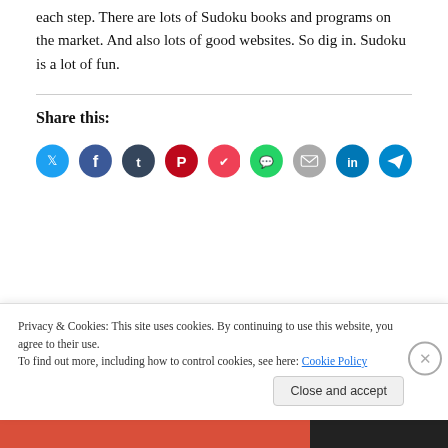each step. There are lots of Sudoku books and programs on the market.  And also lots of good websites.  So dig in.  Sudoku is a lot of fun.
Share this:
[Figure (other): Row of social media sharing icons: Twitter (blue), Facebook (blue), Tumblr (dark blue), Pinterest (red), Pocket (pink/red), WhatsApp (green), Email (grey), LinkedIn (blue), Telegram (blue)]
Privacy & Cookies: This site uses cookies. By continuing to use this website, you agree to their use.
To find out more, including how to control cookies, see here: Cookie Policy
Close and accept